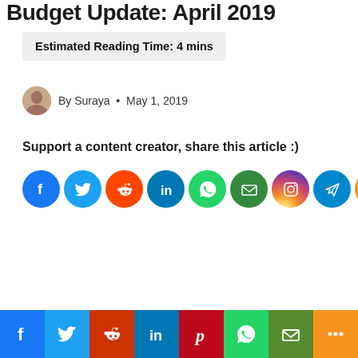Budget Update: April 2019
Estimated Reading Time: 4 mins
By Suraya • May 1, 2019
Support a content creator, share this article :)
[Figure (infographic): Row of social media share icons: Facebook, Twitter, Reddit, LinkedIn, WhatsApp, Email, Instagram, Telegram, More]
[Figure (infographic): Bottom bar with social media icons: Facebook (blue), Twitter (light blue), Reddit (orange-red), LinkedIn (blue), Pinterest (red), WhatsApp (green), Email (olive/green), More (orange)]